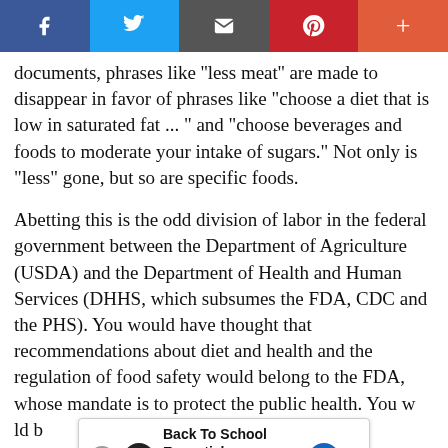[Figure (other): Social media sharing toolbar with Facebook, Twitter, Email, Pinterest, and More buttons]
documents, phrases like ''less meat'' are made to disappear in favor of phrases like "choose a diet that is low in saturated fat ... " and "choose beverages and foods to moderate your intake of sugars." Not only is "less" gone, but so are specific foods.
Abetting this is the odd division of labor in the federal government between the Department of Agriculture (USDA) and the Department of Health and Human Services (DHHS, which subsumes the FDA, CDC and the PHS). You would have thought that recommendations about diet and health and the regulation of food safety would belong to the FDA, whose mandate is to protect the public health. You would be wrong. The USDA, whose mandate is to promote agriculture, which you can read in ... bed (and
[Figure (other): Advertisement overlay: Back To School Essentials – Leesburg Premium Outlets]